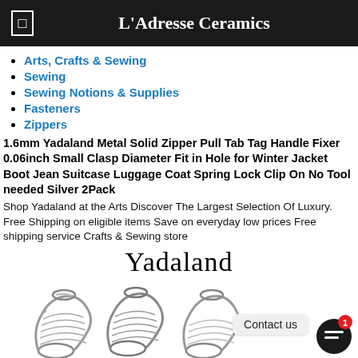L'Adresse Ceramics
Arts, Crafts & Sewing
Sewing
Sewing Notions & Supplies
Fasteners
Zippers
1.6mm Yadaland Metal Solid Zipper Pull Tab Tag Handle Fixer 0.06inch Small Clasp Diameter Fit in Hole for Winter Jacket Boot Jean Suitcase Luggage Coat Spring Lock Clip On No Tool needed Silver 2Pack
Shop Yadaland at the Arts Discover The Largest Selection Of Luxury. Free Shipping on eligible items Save on everyday low prices Free shipping service Crafts & Sewing store
[Figure (logo): Yadaland brand name in large serif font]
[Figure (photo): Metal zipper spring clips/pulls shown at bottom of page, with Contact us chat bubble and chat icon with notification badge showing 1]